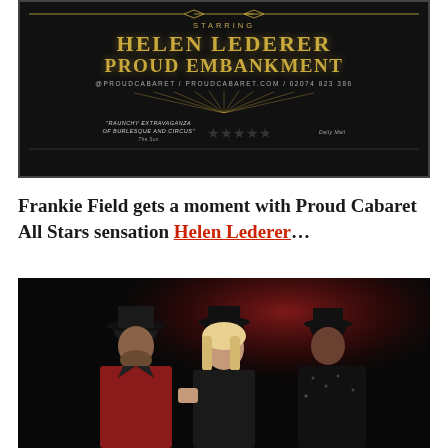[Figure (illustration): Black background advertisement poster for Proud Cabaret All Stars. Gold decorative art deco design with text 'STARRING HELEN LEDERER PROUD EMBANKMENT @PROUDCABARET / PROUDCABARET.COM / 02074823386'. Quote: 'RAUNCHY EXTRAVAGANZA OF BURLESQUE AND CIRCUS' - The Sun. Five stars rating from Daily Mail.]
Frankie Field gets a moment with Proud Cabaret All Stars sensation Helen Lederer...
[Figure (photo): Dark theatrical photo of three performers in costume with top hats against a red-lit background. A blonde woman (Helen Lederer) in the center flanked by two darker-costumed figures.]